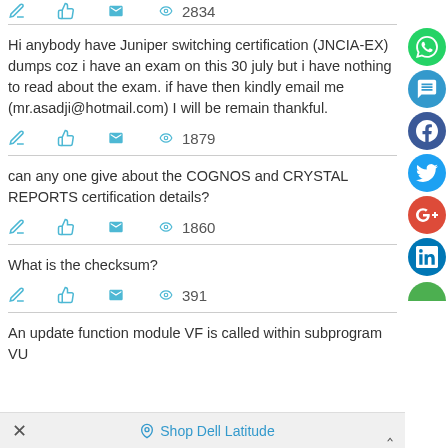2834
Hi anybody have Juniper switching certification (JNCIA-EX) dumps coz i have an exam on this 30 july but i have nothing to read about the exam. if have then kindly email me (mr.asadji@hotmail.com) I will be remain thankful.
1879
can any one give about the COGNOS and CRYSTAL REPORTS certification details?
1860
What is the checksum?
391
An update function module VF is called within subprogram VU
Shop Dell Latitude